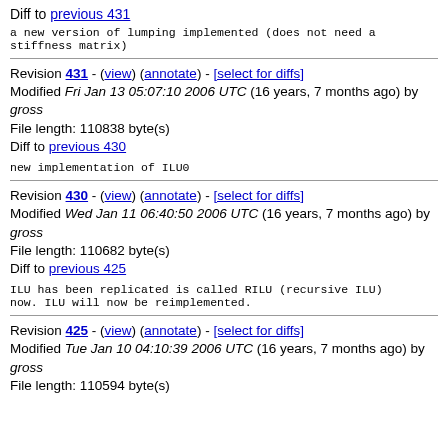Diff to previous 431
a new version of lumping implemented (does not need a stiffness matrix)
Revision 431 - (view) (annotate) - [select for diffs] Modified Fri Jan 13 05:07:10 2006 UTC (16 years, 7 months ago) by gross File length: 110838 byte(s) Diff to previous 430
new implementation of ILU0
Revision 430 - (view) (annotate) - [select for diffs] Modified Wed Jan 11 06:40:50 2006 UTC (16 years, 7 months ago) by gross File length: 110682 byte(s) Diff to previous 425
ILU has been replicated is called RILU (recursive ILU) now. ILU will now be reimplemented.
Revision 425 - (view) (annotate) - [select for diffs] Modified Tue Jan 10 04:10:39 2006 UTC (16 years, 7 months ago) by gross File length: 110594 byte(s)